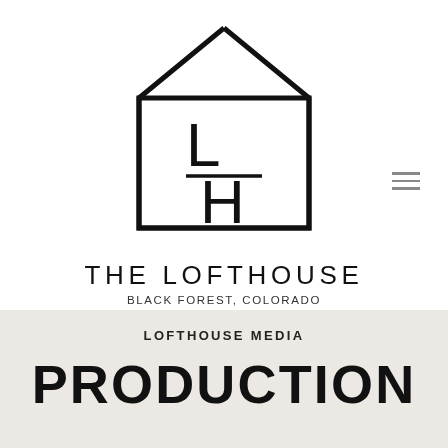[Figure (logo): The Lofthouse logo: a house outline (roof peak at top, angled sides, rectangular body) containing the letters L over H separated by a horizontal line, rendered in black on white]
THE LOFTHOUSE
BLACK FOREST, COLORADO
LOFTHOUSE MEDIA
PRODUCTION